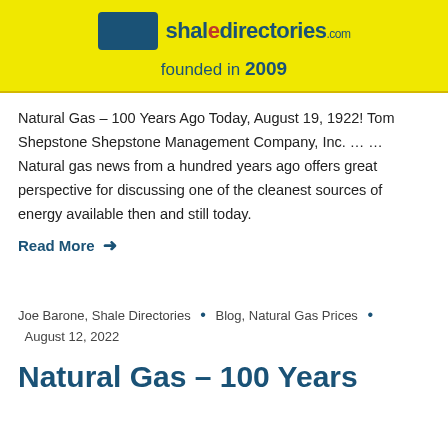shaledirecotries.com founded in 2009
Natural Gas – 100 Years Ago Today, August 19, 1922! Tom Shepstone Shepstone Management Company, Inc. … …  Natural gas news from a hundred years ago offers great perspective for discussing one of the cleanest sources of energy available then and still today.
Read More →
Joe Barone, Shale Directories • Blog, Natural Gas Prices • August 12, 2022
Natural Gas – 100 Years